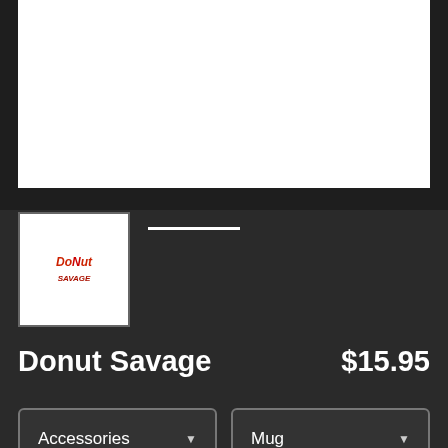[Figure (photo): White product display image area (mug product image, partially visible), with a thumbnail below showing the Donut Savage logo]
Donut Savage   $15.95
Accessories (dropdown) | Mug (dropdown)
Standard (dropdown)
COLOR